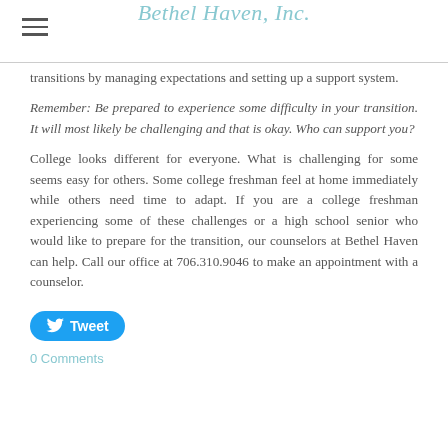Bethel Haven, Inc.
transitions by managing expectations and setting up a support system.
Remember: Be prepared to experience some difficulty in your transition. It will most likely be challenging and that is okay. Who can support you?
College looks different for everyone. What is challenging for some seems easy for others. Some college freshman feel at home immediately while others need time to adapt. If you are a college freshman experiencing some of these challenges or a high school senior who would like to prepare for the transition, our counselors at Bethel Haven can help. Call our office at 706.310.9046 to make an appointment with a counselor.
[Figure (other): Twitter Tweet button]
0 Comments